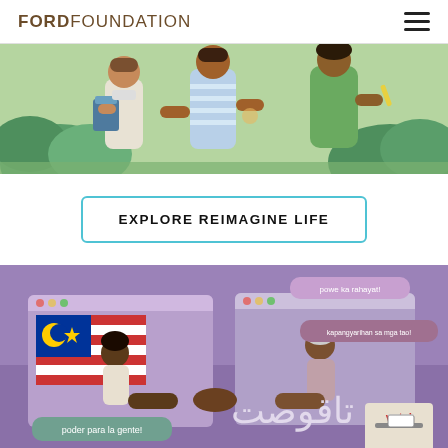FORD FOUNDATION
[Figure (illustration): Illustration of three people interacting outdoors, with green foliage in background. One person holds a folder, another wears a striped shirt, third person wears green. Flat cartoon style.]
EXPLORE REIMAGINE LIFE
[Figure (illustration): Illustration on purple/violet background showing two people shaking hands through computer browser windows. Left person is in front of a Malaysian flag, right person has grey hair. Speech bubbles say 'powe ka rahayat!', 'kapangyarihan sa mga tao!', 'poder para la gente!'. Arabic/Urdu script visible. A 'vote!' sign and ballot box shown at bottom right.]